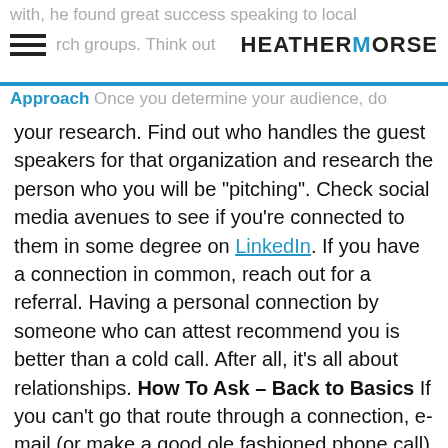with, he found great success speaking to local church groups. Think out
HEATHERMORSE
Approach Once you determine your audience, do your research. Find out who handles the guest speakers for that organization and research the person who you will be “pitching”. Check social media avenues to see if you’re connected to them in some degree on LinkedIn. If you have a connection in common, reach out for a referral. Having a personal connection by someone who can attest recommend you is better than a cold call. After all, it’s all about relationships. How To Ask – Back to Basics If you can't go that route through a connection, e-mail (or make a good ole fashioned phone call) and offer to speak for their group… nicely! Faith cautioned not to be arrogant by saying “you are the king or queen” of “x.” Offer to speak in a friendly, casual, but professional manner. There is